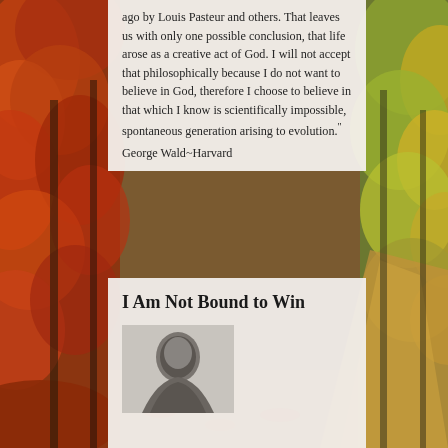[Figure (photo): Autumn forest road background with red, orange, yellow, and green foliage on trees lining a dirt path]
ago by Louis Pasteur and others. That leaves us with only one possible conclusion, that life arose as a creative act of God. I will not accept that philosophically because I do not want to believe in God, therefore I choose to believe in that which I know is scientifically impossible, spontaneous generation arising to evolution."
George Wald~Harvard
I Am Not Bound to Win
[Figure (photo): Black and white portrait photograph, partially visible at the bottom of the page]